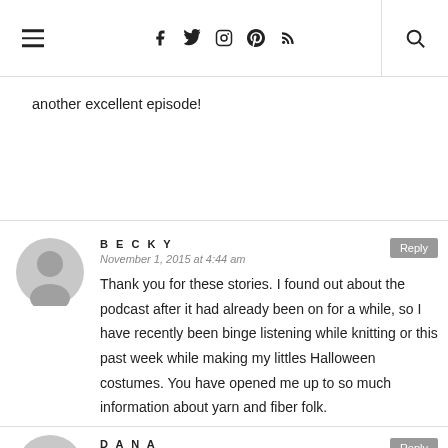Navigation header with hamburger menu, social icons (Facebook, Twitter, Instagram, Pinterest, RSS), and search
another excellent episode!
BECKY
November 1, 2015 at 4:44 am
Thank you for these stories. I found out about the podcast after it had already been on for a while, so I have recently been binge listening while knitting or this past week while making my littles Halloween costumes. You have opened me up to so much information about yarn and fiber folk.
DANA